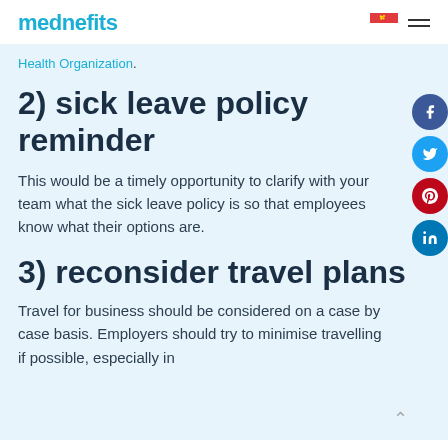mednefits
Health Organization.
2) sick leave policy reminder
This would be a timely opportunity to clarify with your team what the sick leave policy is so that employees know what their options are.
3) reconsider travel plans
Travel for business should be considered on a case by case basis. Employers should try to minimise travelling if possible, especially in